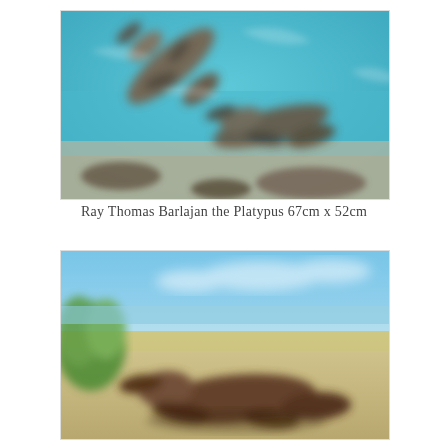[Figure (illustration): Painting of platypus swimming underwater, blue water with sandy/rocky bottom, multiple platypus figures visible, blurred/impressionistic style]
Ray Thomas Barlajan the Platypus 67cm x 52cm
[Figure (illustration): Painting of platypus on land near water, green and sandy landscape with blue sky, blurred/impressionistic style]